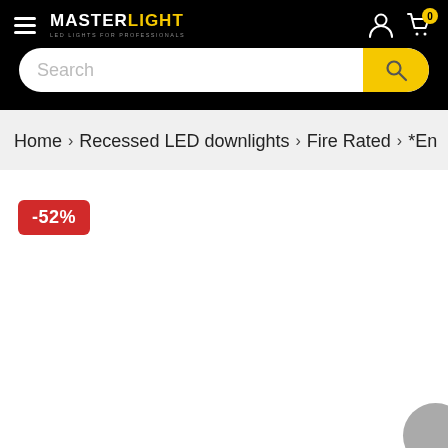MASTERLIGHT LED LIGHTS FOR PROFESSIONALS
Search
Home > Recessed LED downlights > Fire Rated > *En
-52%